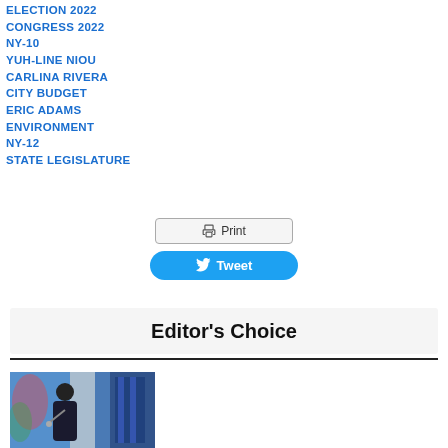ELECTION 2022
CONGRESS 2022
NY-10
YUH-LINE NIOU
CARLINA RIVERA
CITY BUDGET
ERIC ADAMS
ENVIRONMENT
NY-12
STATE LEGISLATURE
Editor's Choice
[Figure (photo): A man speaking at a podium or microphone in front of a colorful stained glass or decorative background with blue curtains]